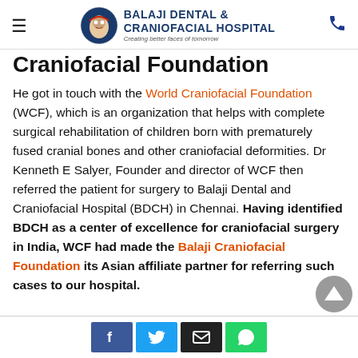Balaji Dental & Craniofacial Hospital — Creating better faces of tomorrow
Craniofacial Foundation
He got in touch with the World Craniofacial Foundation (WCF), which is an organization that helps with complete surgical rehabilitation of children born with prematurely fused cranial bones and other craniofacial deformities. Dr Kenneth E Salyer, Founder and director of WCF then referred the patient for surgery to Balaji Dental and Craniofacial Hospital (BDCH) in Chennai. Having identified BDCH as a center of excellence for craniofacial surgery in India, WCF had made the Balaji Craniofacial Foundation its Asian affiliate partner for referring such cases to our hospital.
Social share bar: Facebook, Twitter, Email, WhatsApp